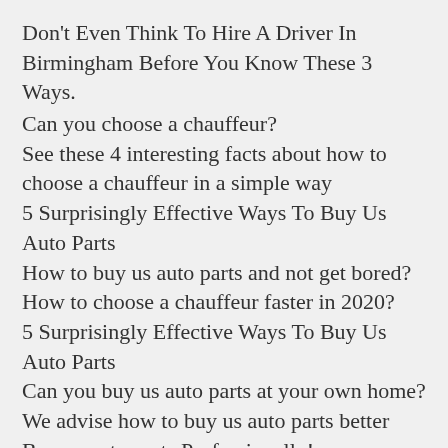Don't Even Think To Hire A Driver In Birmingham Before You Know These 3 Ways.
Can you choose a chauffeur?
See these 4 interesting facts about how to choose a chauffeur in a simple way
5 Surprisingly Effective Ways To Buy Us Auto Parts
How to buy us auto parts and not get bored?
How to choose a chauffeur faster in 2020?
5 Surprisingly Effective Ways To Buy Us Auto Parts
Can you buy us auto parts at your own home?
We advise how to buy us auto parts better
Buy us auto parts Professionally!
5 disturbing signals that won't let you buy us auto parts
5 disturbing signals that won't let you buy us auto parts
Buy us auto parts professionally?
5 disturbing signals that won't let you buy us auto parts